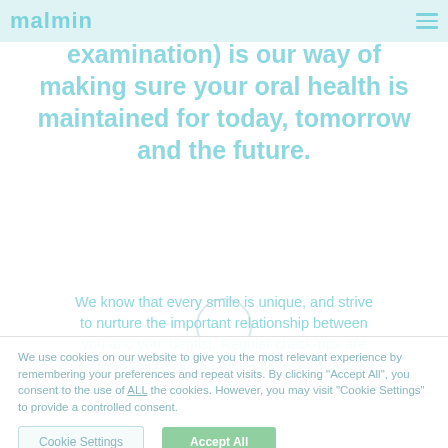malmin (logo) + hamburger menu
examination) is our way of making sure your oral health is maintained for today, tomorrow and the future.
We know that every smile is unique, and strive to nurture the important relationship between you and your dentist. Regular check-ups are advised to provide a preventative approach to
We use cookies on our website to give you the most relevant experience by remembering your preferences and repeat visits. By clicking "Accept All", you consent to the use of ALL the cookies. However, you may visit "Cookie Settings" to provide a controlled consent.
Cookie Settings
Accept All